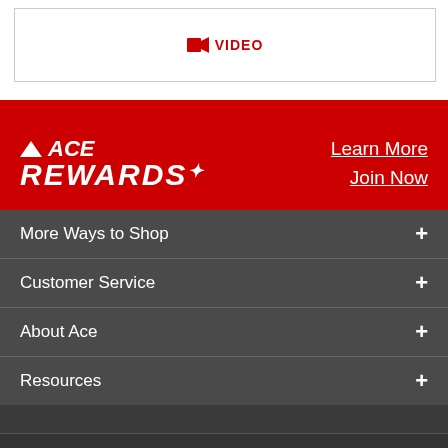[Figure (other): Video placeholder box with red camera icon and VIDEO text]
[Figure (logo): ACE Rewards logo in white on red background with Learn More and Join Now links]
More Ways to Shop
Customer Service
About Ace
Resources
[Figure (other): Social media icons row: Facebook, Instagram, Twitter, Pinterest, YouTube, TXT]